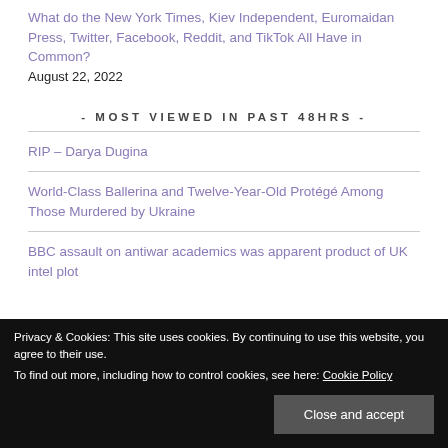What do the New York Times, Kiev Independent, Euromaidan Press, Twitter, Facebook, Reddit, and TikTok All Have in Common?
August 22, 2022
- MOST VIEWED IN PAST 48HRS -
RIP – Darya Dugina
World-Class Ballerina and Twelve-Year-Old Protégé Among Those Murdered by Ukraine
BBC assault on antiwar academics was apparent product of UK intel plot
Cooperation
Privacy & Cookies: This site uses cookies. By continuing to use this website, you agree to their use. To find out more, including how to control cookies, see here: Cookie Policy
Close and accept